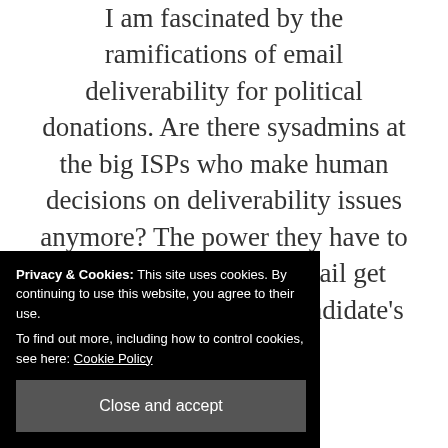I am fascinated by the ramifications of email deliverability for political donations. Are there sysadmins at the big ISPs who make human decisions on deliverability issues anymore? The power they have to make one candidate's mail get delivered and another candidate's mail is
Privacy & Cookies: This site uses cookies. By continuing to use this website, you agree to their use.
To find out more, including how to control cookies, see here: Cookie Policy
Close and accept